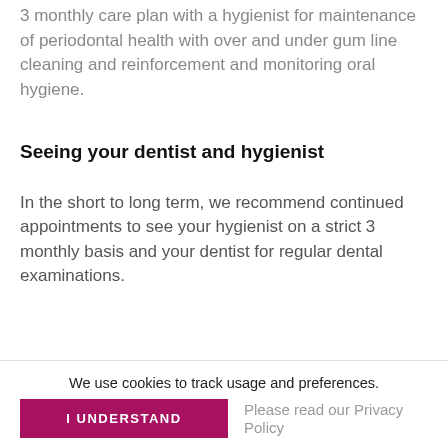3 monthly care plan with a hygienist for maintenance of periodontal health with over and under gum line cleaning and reinforcement and monitoring oral hygiene.
Seeing your dentist and hygienist
In the short to long term, we recommend continued appointments to see your hygienist on a strict 3 monthly basis and your dentist for regular dental examinations.
We use cookies to track usage and preferences.
I UNDERSTAND
Please read our Privacy Policy